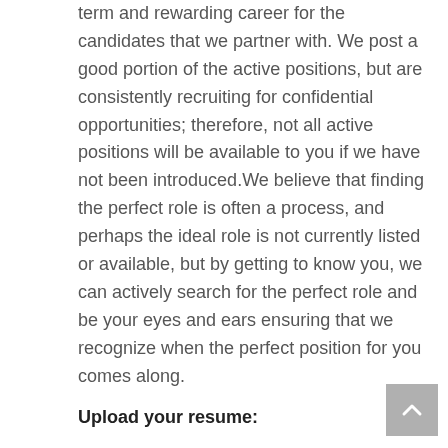term and rewarding career for the candidates that we partner with. We post a good portion of the active positions, but are consistently recruiting for confidential opportunities; therefore, not all active positions will be available to you if we have not been introduced.We believe that finding the perfect role is often a process, and perhaps the ideal role is not currently listed or available, but by getting to know you, we can actively search for the perfect role and be your eyes and ears ensuring that we recognize when the perfect position for you comes along.
Upload your resume: